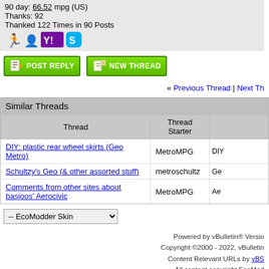90 day: 66.52 mpg (US)
Thanks: 92
Thanked 122 Times in 90 Posts
« Previous Thread | Next Th...
| Thread | Thread Starter |  |
| --- | --- | --- |
| DIY: plastic rear wheel skirts (Geo Metro) | MetroMPG | DIY... |
| Schultzy's Geo (& other assorted stuff) | metroschultz | Ge... |
| Comments from other sites about basjoos' Aerocivic | MetroMPG | Ae... |
-- EcoModder Skin
Powered by vBulletin® Version...
Copyright ©2000 - 2022, vBulletin...
Content Relevant URLs by vBS...
All content copyright EcoMod...